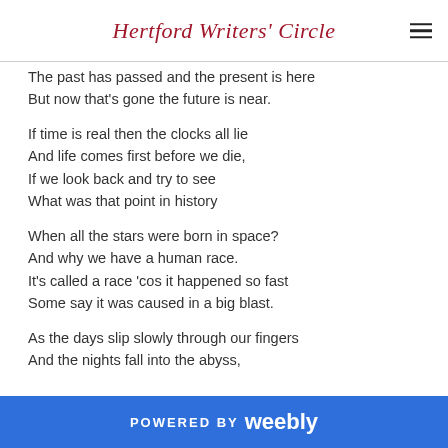Hertford Writers' Circle
The past has passed and the present is here
But now that's gone the future is near.
If time is real then the clocks all lie
And life comes first before we die,
If we look back and try to see
What was that point in history
When all the stars were born in space?
And why we have a human race.
It's called a race 'cos it happened so fast
Some say it was caused in a big blast.
As the days slip slowly through our fingers
And the nights fall into the abyss,
POWERED BY weebly